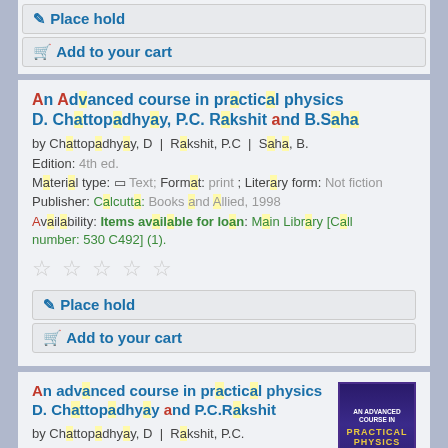Place hold | Add to your cart (top buttons)
An Advanced course in practical physics D. Chattopadhyay, P.C. Rakshit and B.Saha
by Chattopadhyay, D | Rakshit, P.C | Saha, B.
Edition: 4th ed.
Material type: Text; Format: print ; Literary form: Not fiction
Publisher: Calcutta: Books and Allied, 1998
Availability: Items available for loan: Main Library [Call number: 530 C492] (1).
Place hold | Add to your cart (bottom buttons of card)
An advanced course in practical physics D. Chattopadhyay and P.C.Rakshit
by Chattopadhyay, D | Rakshit, P.C.
[Figure (photo): Book cover of 'An Advanced Course in Practical Physics' with dark purple background, gold title text, and red wave graphic]